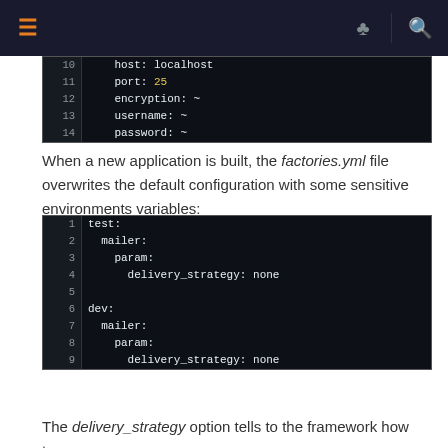[Figure (screenshot): Navigation bar with hamburger menu icon (orange), link icon, and search icon (orange) on dark background]
[Figure (screenshot): Code block showing YAML configuration lines 10-14: host: localhost, port: 25 (highlighted in yellow), encryption: ~, username: ~, password: ~]
When a new application is built, the factories.yml file overwrites the default configuration with some sensitive environments variables:
[Figure (screenshot): Code block showing YAML configuration lines 1-9: test: mailer: param: delivery_strategy: none, dev: mailer: param: delivery_strategy: none]
The delivery_strategy option tells to the framework how to